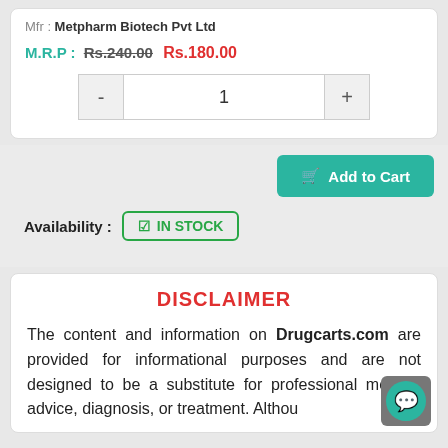Mfr : Metpharm Biotech Pvt Ltd
M.R.P : Rs.240.00 Rs.180.00
1
Add to Cart
Availability : IN STOCK
DISCLAIMER
The content and information on Drugcarts.com are provided for informational purposes and are not designed to be a substitute for professional medical advice, diagnosis, or treatment. Althou